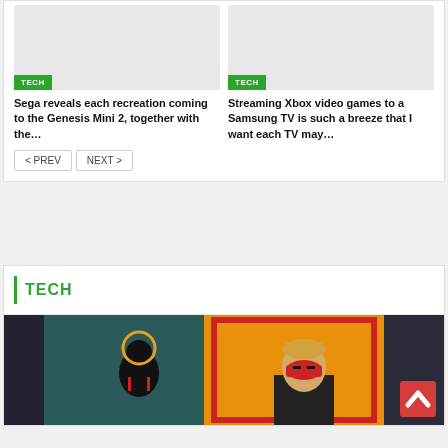[Figure (screenshot): Gray placeholder image for article about Sega Genesis Mini 2 with green TECH badge]
[Figure (screenshot): Gray placeholder image for article about Streaming Xbox games to Samsung TV with green TECH badge]
Sega reveals each recreation coming to the Genesis Mini 2, together with the…
Streaming Xbox video games to a Samsung TV is such a breeze that I want each TV may…
< PREV
NEXT >
TECH
[Figure (photo): Photo showing two masked figures against contrasting backgrounds — one in black ninja-style outfit and one in a suit with red mask]